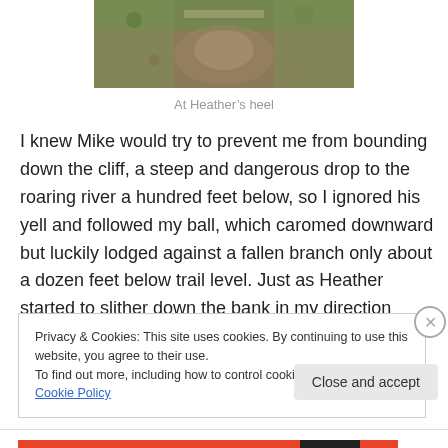[Figure (photo): Partial photo of a rocky/mossy trail surface, cropped at top]
At Heather's heel
I knew Mike would try to prevent me from bounding down the cliff, a steep and dangerous drop to the roaring river a hundred feet below, so I ignored his yell and followed my ball, which caromed downward but luckily lodged against a fallen branch only about a dozen feet below trail level. Just as Heather started to slither down the bank in my direction
Privacy & Cookies: This site uses cookies. By continuing to use this website, you agree to their use.
To find out more, including how to control cookies, see here: Cookie Policy